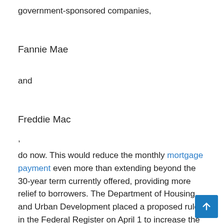government-sponsored companies,
Fannie Mae
and
Freddie Mac
,
do now. This would reduce the monthly mortgage payment even more than extending beyond the 30-year term currently offered, providing more relief to borrowers. The Department of Housing and Urban Development placed a proposed rule in the Federal Register on April 1 to increase the term of loan modifications to 40 years for FHA-insured mortgages. We are now in a 60 day comment period.